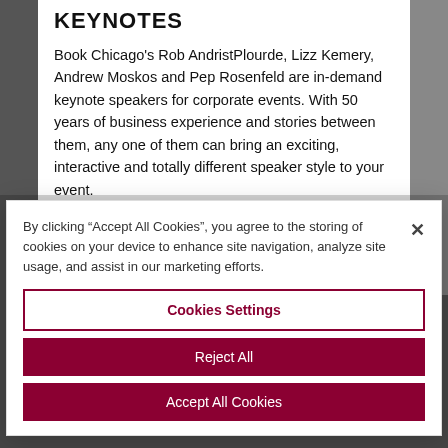KEYNOTES
Book Chicago's Rob AndristPlourde, Lizz Kemery, Andrew Moskos and Pep Rosenfeld are in-demand keynote speakers for corporate events. With 50 years of business experience and stories between them, any one of them can bring an exciting, interactive and totally different speaker style to your event.
By clicking “Accept All Cookies”, you agree to the storing of cookies on your device to enhance site navigation, analyze site usage, and assist in our marketing efforts.
Cookies Settings
Reject All
Accept All Cookies